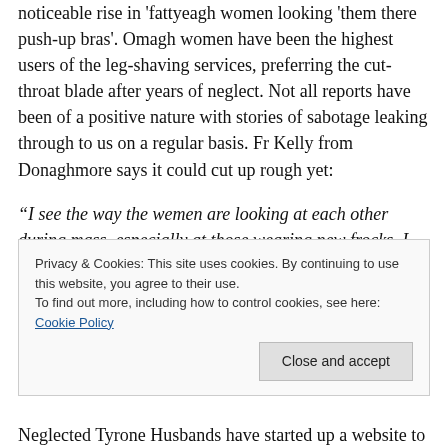noticeable rise in 'fattyeagh women looking 'them there push-up bras'. Omagh women have been the highest users of the leg-shaving services, preferring the cut-throat blade after years of neglect. Not all reports have been of a positive nature with stories of sabotage leaking through to us on a regular basis. Fr Kelly from Donaghmore says it could cut up rough yet:
“I see the way the wemen are looking at each other during mass, especially at those wearing new frocks. I saw it coming but last week a woman tripped her cousin going up for communion, ruining her sexy trendy handed casual
Privacy & Cookies: This site uses cookies. By continuing to use this website, you agree to their use. To find out more, including how to control cookies, see here: Cookie Policy
Neglected Tyrone Husbands have started up a website to